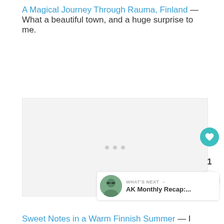A Magical Journey Through Rauma, Finland — What a beautiful town, and a huge surprise to me.
[Figure (photo): Placeholder image area with three loading dots centered, representing a photo slideshow or gallery for the Rauma, Finland article]
WHAT'S NEXT → AK Monthly Recap:...
Sweet Notes in a Warm Finnish Summer — I